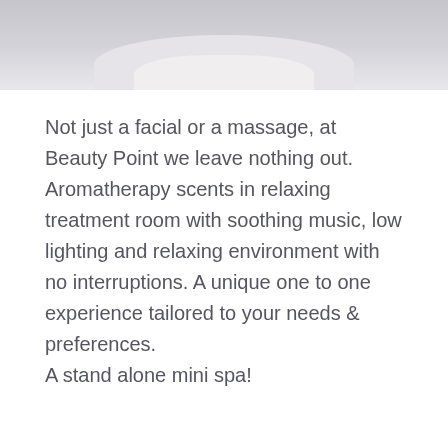[Figure (photo): Partial view of a person lying on a treatment table with white towel/sheets, cropped at top of page]
Not just a facial or a massage, at Beauty Point we leave nothing out. Aromatherapy scents in relaxing treatment room with soothing music, low lighting and relaxing environment with no interruptions. A unique one to one experience tailored to your needs & preferences.
A stand alone mini spa!
Dermalogica Skin Therapy - £45
Not just a Facial!